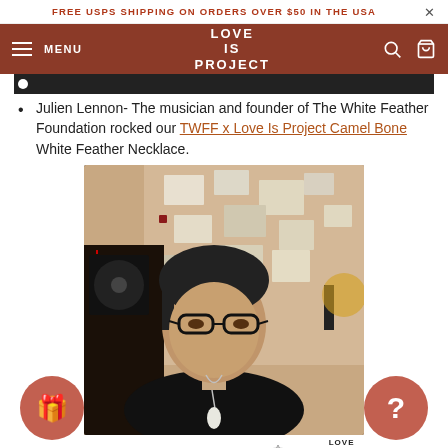FREE USPS SHIPPING ON ORDERS OVER $50 IN THE USA
LOVE PROJECT — MENU
[Figure (photo): Partial photo at top of page, dark background]
Julien Lennon- The musician and founder of The White Feather Foundation rocked our TWFF x Love Is Project Camel Bone White Feather Necklace.
[Figure (photo): Photo of a man with glasses wearing a black shirt and a white feather necklace, seated in front of a wall covered in photos and papers. Love Project logo watermark visible in lower right corner.]
Rachel Proctor- influencer Rachel Proctor adorned herself in our Bali UNITY